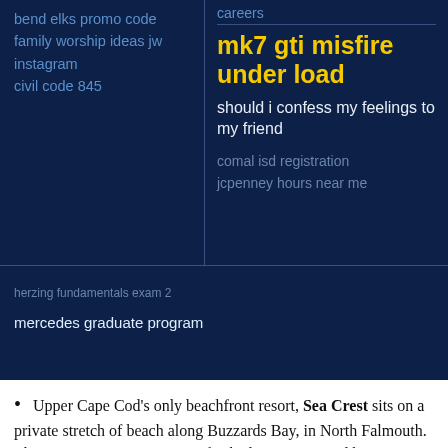careers
mk7 gti misfire under load
should i confess my feelings to my friend
comal isd registration
jcpenney hours near me
bend elks promo code
family worship ideas jw instagram
civil code 845
herzing fundamentals exam 2
mercedes graduate program
Upper Cape Cod's only beachfront resort, Sea Crest sits on a private stretch of beach along Buzzards Bay, in North Falmouth. This spring, experience our refreshed resort inspired by our stunning natural surroundings. From the use of natural light and soft tones to natural textures and a clean aesthetic, our new look evokes the breeziness of ...